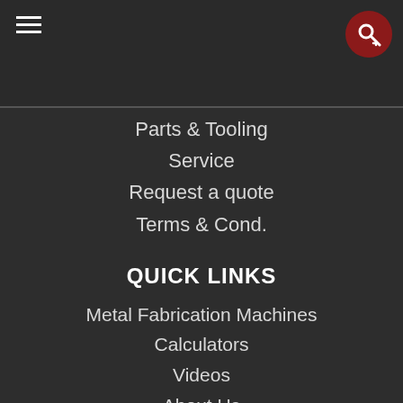Parts & Tooling
Service
Request a quote
Terms & Cond.
QUICK LINKS
Metal Fabrication Machines
Calculators
Videos
About Us
Blog
RESOURCE LINKS
Testimonials
Dealer Login